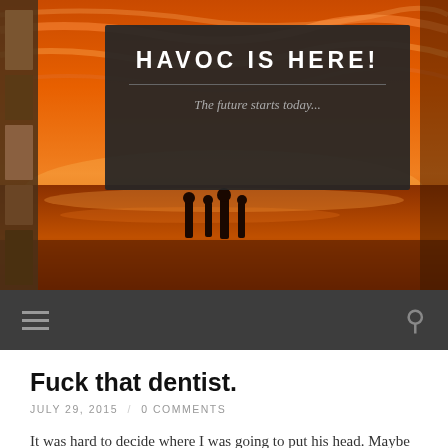[Figure (photo): Sunset beach scene with silhouettes of people standing in shallow water, dramatic orange and golden sky with clouds. Bookshelf visible on the left edge.]
HAVOC IS HERE!
The future starts today...
Fuck that dentist.
JULY 29, 2015 / 0 COMMENTS
It was hard to decide where I was going to put his head. Maybe over the pool table? On top of the Ms. Pac Man game? I've never been much of an interior decorator. This was my man-cave, and I didn't want to fuck it up. A